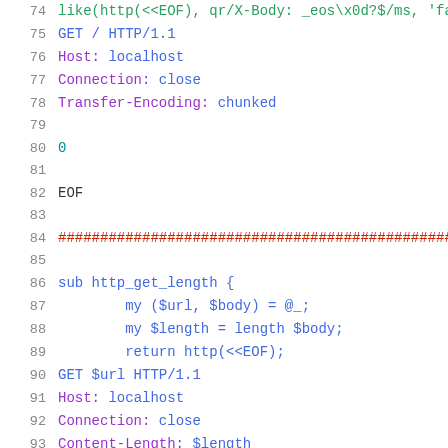74  like(http(<<EOF), qr/X-Body: _eos\x0d?$/ms, 'fas
75  GET / HTTP/1.1
76  Host: localhost
77  Connection: close
78  Transfer-Encoding: chunked
79  (blank)
80  0
81  (blank)
82  EOF
83  (blank)
84  ###...
85  (blank)
86  sub http_get_length {
87      my ($url, $body) = @_;
88      my $length = length $body;
89      return http(<<EOF);
90  GET $url HTTP/1.1
91  Host: localhost
92  Connection: close
93  Content-Length: $length
94  (blank)
95  $body